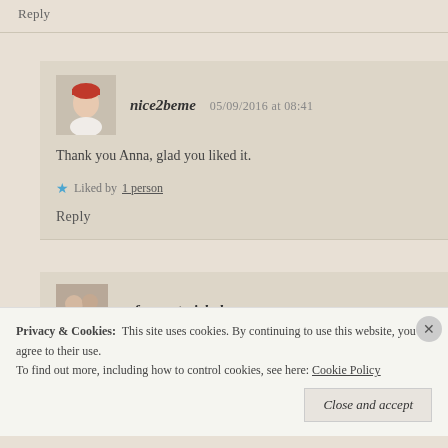Reply
nice2beme   05/09/2016 at 08:41
Thank you Anna, glad you liked it.
Liked by 1 person
Reply
fauquetmichel   02/09/2016 at 22:29
Privacy & Cookies: This site uses cookies. By continuing to use this website, you agree to their use. To find out more, including how to control cookies, see here: Cookie Policy
Close and accept